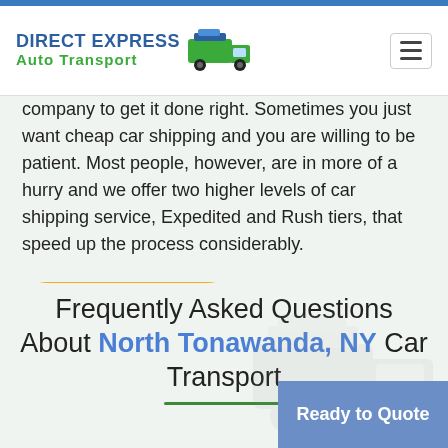DIRECT EXPRESS Auto Transport
company to get it done right. Sometimes you just want cheap car shipping and you are willing to be patient. Most people, however, are in more of a hurry and we offer two higher levels of car shipping service, Expedited and Rush tiers, that speed up the process considerably.
Ready? Lets roll →
Frequently Asked Questions About North Tonawanda, NY Car Transport
Ready to Quote